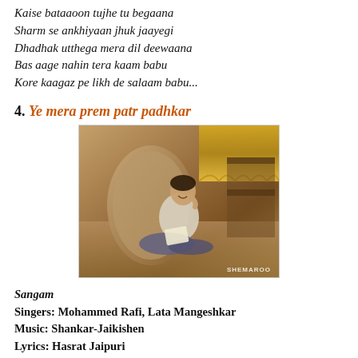Kaise bataaoon tujhe tu begaana
Sharm se ankhiyaan jhuk jaayegi
Dhadhak utthega mera dil deewaana
Bas aage nahin tera kaam babu
Kore kaagaz pe likh de salaam babu...
4. Ye mera prem patr padhkar
[Figure (photo): Vintage color film still showing a young man in a white shirt sitting cross-legged on the floor near a large armchair, smiling while reading/writing. Background shows golden curtains and decorative items. SHEMAROO watermark in bottom right.]
Sangam
Singers: Mohammed Rafi, Lata Mangeshkar
Music: Shankar-Jaikishen
Lyrics: Hasrat Jaipuri